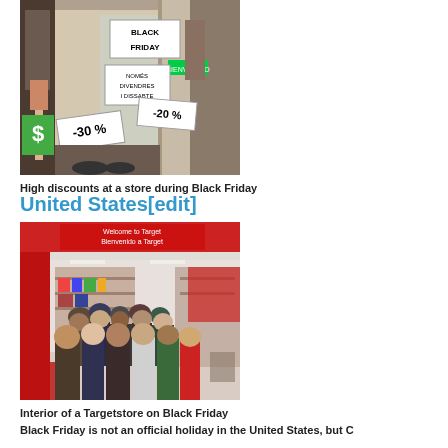[Figure (photo): Store window display with Black Friday signs showing -30% and -20% discounts, mannequins visible]
High discounts at a store during Black Friday
United States[edit]
[Figure (photo): Interior of a Target store crowded with shoppers on Black Friday, red decor visible]
Interior of a Targetstore on Black Friday
Black Friday is not an official holiday in the United States, but C